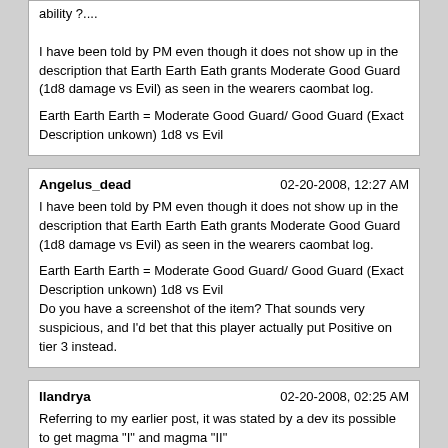ability ?....

I have been told by PM even though it does not show up in the description that Earth Earth Eath grants Moderate Good Guard (1d8 damage vs Evil) as seen in the wearers caombat log.

Earth Earth Earth = Moderate Good Guard/ Good Guard (Exact Description unkown) 1d8 vs Evil
Angelus_dead | 02-20-2008, 12:27 AM

I have been told by PM even though it does not show up in the description that Earth Earth Eath grants Moderate Good Guard (1d8 damage vs Evil) as seen in the wearers caombat log.

Earth Earth Earth = Moderate Good Guard/ Good Guard (Exact Description unkown) 1d8 vs Evil
Do you have a screenshot of the item? That sounds very suspicious, and I'd bet that this player actually put Positive on tier 3 instead.
llandrya | 02-20-2008, 02:25 AM

Referring to my earlier post, it was stated by a dev its possible to get magma "I" and magma "II"

magma is a combination of two elements. in order to get two aspects of magma, there have to be two "pairings"
there are two pairings possible:

aspect + focus2 and aspect + focus3

or

aspect + focus2 and focus2 + focus3